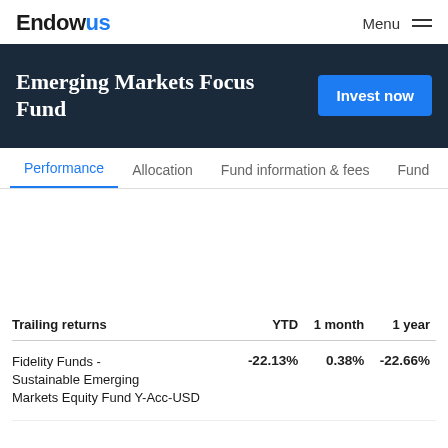Endowus | Menu
Emerging Markets Focus Fund
Performance | Allocation | Fund information & fees | Fund
| Trailing returns | YTD | 1 month | 1 year |
| --- | --- | --- | --- |
| Fidelity Funds - Sustainable Emerging Markets Equity Fund Y-Acc-USD | -22.13% | 0.38% | -22.66% |